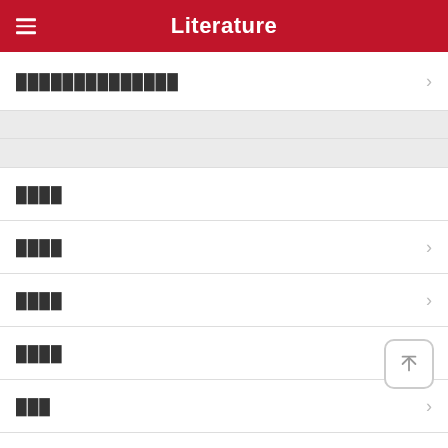Literature
██████████████
████
████
████
████
███
███